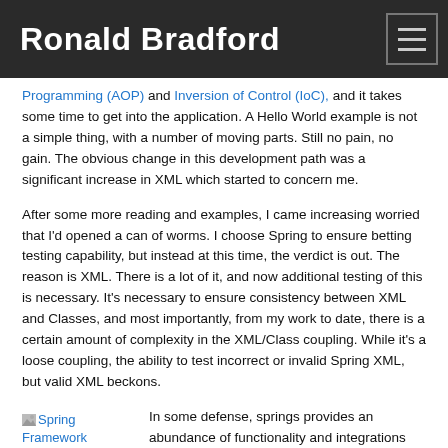Ronald Bradford
Programming (AOP) and Inversion of Control (IoC), and it takes some time to get into the application. A Hello World example is not a simple thing, with a number of moving parts. Still no pain, no gain. The obvious change in this development path was a significant increase in XML which started to concern me.
After some more reading and examples, I came increasing worried that I’d opened a can of worms. I choose Spring to ensure betting testing capability, but instead at this time, the verdict is out. The reason is XML. There is a lot of it, and now additional testing of this is necessary. It’s necessary to ensure consistency between XML and Classes, and most importantly, from my work to date, there is a certain amount of complexity in the XML/Class coupling. While it’s a loose coupling, the ability to test incorrect or invalid Spring XML, but valid XML beckons.
[Figure (illustration): Spring Framework image placeholder with link text]
In some defense, springs provides an abundance of functionality and integrations with Other Web Frameworks such as JSF, Taspetry, WebWork and Structs, ORM Persistence Frameworks such as Hibernate, JDO, iBATIS, OJB, but when it comes down